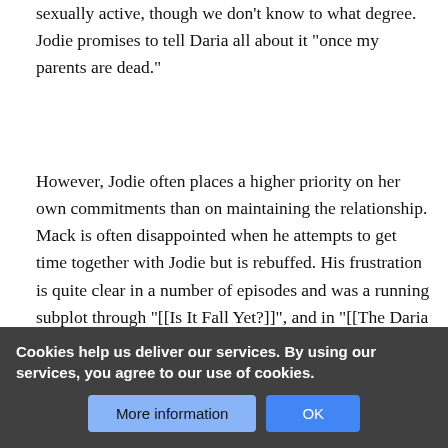sexually active, though we don't know to what degree. Jodie promises to tell Daria all about it "once my parents are dead."
However, Jodie often places a higher priority on her own commitments than on maintaining the relationship. Mack is often disappointed when he attempts to get time together with Jodie but is rebuffed. His frustration is quite clear in a number of episodes and was a running subplot through "[[Is It Fall Yet?]]", and in "[[The Daria Database]]" Mack's new year resolutions to not be bothered that she puts "every damn thing" ahead of him. In the MTV feature [ http://www.mtv.com/onair/daria/chapter2/flipbook_two/ "[It Takes Two Toto Tangle"]], this stress and frustration is presented as the defining factor of their relationship and it adds "They should sign up for a 12-step program--but she only has time f
Cookies help us deliver our services. By using our services, you agree to our use of cookies.
More information
OK